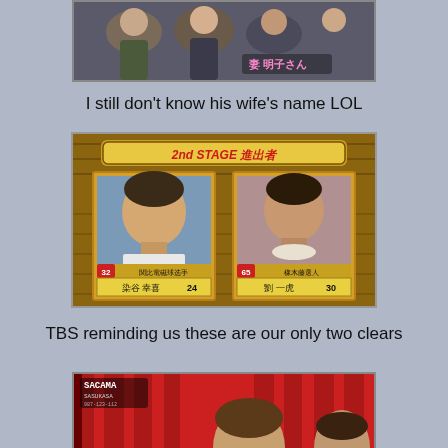[Figure (screenshot): TV screenshot showing people clapping/cheering with Japanese text label '妻 明子さん' (Wife Akiko-san) in pink]
I still don't know his wife's name LOL
[Figure (screenshot): Japanese game show screen showing '2nd STAGE 進出者' (2nd Stage Qualifiers) with two contestant photos: 染谷 幸喜 age 24 (number 32) and 劉 一虎 age 30 (number 65)]
TBS reminding us these are our only two clears
[Figure (screenshot): TV broadcast screenshot showing a person in front of red curtains with a game show logo overlay]